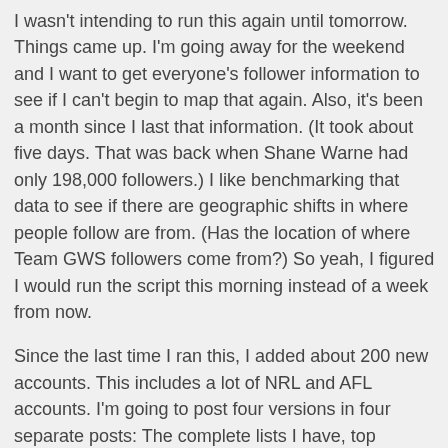I wasn't intending to run this again until tomorrow.  Things came up.  I'm going away for the weekend and I want to get everyone's follower information to see if I can't begin to map that again.  Also, it's been a month since I last that information.  (It took about five days.  That was back when Shane Warne had only 198,000 followers.)  I like benchmarking that data to see if there are geographic shifts in where people follow are from.  (Has the location of where Team GWS followers come from?)  So yeah, I figured I would run the script this morning instead of a week from now.
Since the last time I ran this, I added about 200 new accounts.  This includes a lot of NRL and AFL accounts.  I'm going to post four versions in four separate posts: The complete lists I have, top women, top NRL and top AFL.  I post these lists as new posts, rather than updating existing posts, so that people can keep track of what is happening historically.
Yeah, it is that time again! I've added about 50 new accounts to this list. The focus was on adding cricketers and female athletes. There are a few that where the